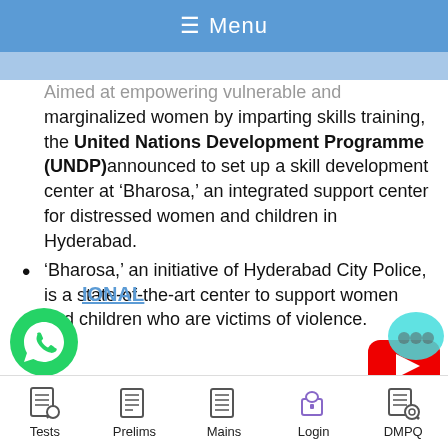Menu
Aimed at empowering vulnerable and marginalized women by imparting skills training, the United Nations Development Programme (UNDP)announced to set up a skill development center at ‘Bharosa,’ an integrated support center for distressed women and children in Hyderabad.
‘Bharosa,’ an initiative of Hyderabad City Police, is a state-of-the-art center to support women and children who are victims of violence.
–
[Figure (logo): WhatsApp icon]
IONAL
[Figure (logo): YouTube play button icon]
[Figure (logo): Chat bubble icon]
Tests | Prelims | Mains | Login | DMPQ